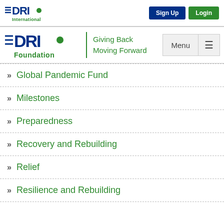[Figure (logo): DRI International logo with green dot and lines]
Sign Up
Login
[Figure (logo): DRI Foundation logo with Giving Back Moving Forward tagline]
Menu
» Global Pandemic Fund
» Milestones
» Preparedness
» Recovery and Rebuilding
» Relief
» Resilience and Rebuilding